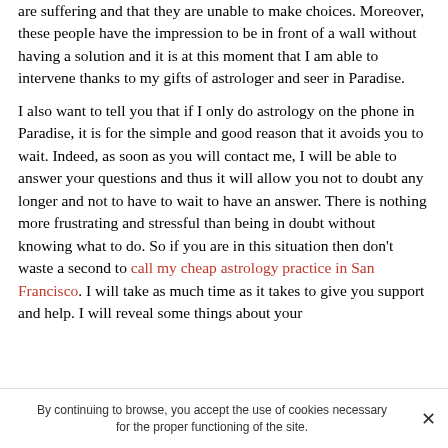are suffering and that they are unable to make choices. Moreover, these people have the impression to be in front of a wall without having a solution and it is at this moment that I am able to intervene thanks to my gifts of astrologer and seer in Paradise.
I also want to tell you that if I only do astrology on the phone in Paradise, it is for the simple and good reason that it avoids you to wait. Indeed, as soon as you will contact me, I will be able to answer your questions and thus it will allow you not to doubt any longer and not to have to wait to have an answer. There is nothing more frustrating and stressful than being in doubt without knowing what to do. So if you are in this situation then don't waste a second to call my cheap astrology practice in San Francisco. I will take as much time as it takes to give you support and help. I will reveal some things about your
By continuing to browse, you accept the use of cookies necessary for the proper functioning of the site.